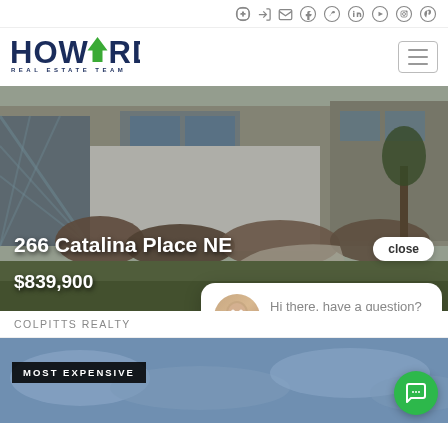Social media icons: login, email, facebook, twitter, linkedin, youtube, instagram, pinterest
[Figure (logo): Howard Real Estate Team logo with green arrow/house mark and text REAL ESTATE TEAM below]
[Figure (photo): Exterior photo of property at 266 Catalina Place NE showing brick/lattice entryway, bare shrubs, green lawn, and multi-unit residential building]
266 Catalina Place NE
$839,900
close
Hi there, have a question? Text us here.
COLPITTS REALTY
MOST EXPENSIVE